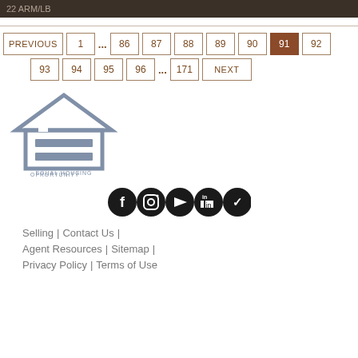22 ARM/LB
PREVIOUS | 1 ... 86 87 88 89 90 91 92
93 94 95 96 ... 171 NEXT
[Figure (logo): Equal Housing Opportunity logo — house outline with equal sign, gray color, text below: EQUAL HOUSING OPPORTUNITY]
[Figure (illustration): Social media icons row: Facebook, Instagram, YouTube, LinkedIn, Nextdoor — all black circles]
Selling | Contact Us | Agent Resources | Sitemap | Privacy Policy | Terms of Use